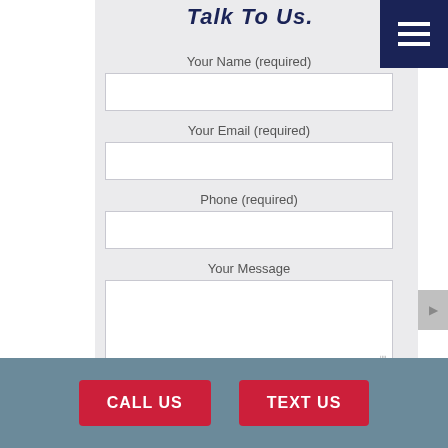Talk To Us.
Your Name (required)
Your Email (required)
Phone (required)
Your Message
CALL US
TEXT US